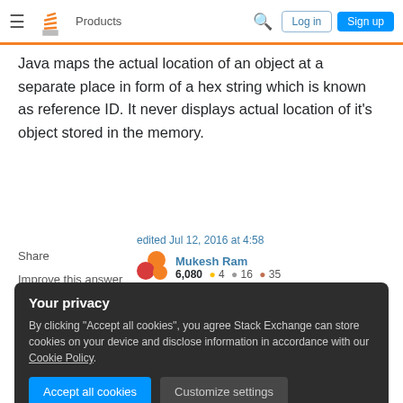Stack Overflow — Products | Log in | Sign up
Java maps the actual location of an object at a separate place in form of a hex string which is known as reference ID. It never displays actual location of it's object stored in the memory.
Share
Improve this answer
Follow
edited Jul 12, 2016 at 4:58
Mukesh Ram
6,080 ● 4 ● 16 ● 35
answered Jul 12, 2016 at 4:18
Jane
43 ● 1 ● 8
Your privacy
By clicking "Accept all cookies", you agree Stack Exchange can store cookies on your device and disclose information in accordance with our Cookie Policy.
Accept all cookies   Customize settings
Object is nothing it is just a buffer or memory in